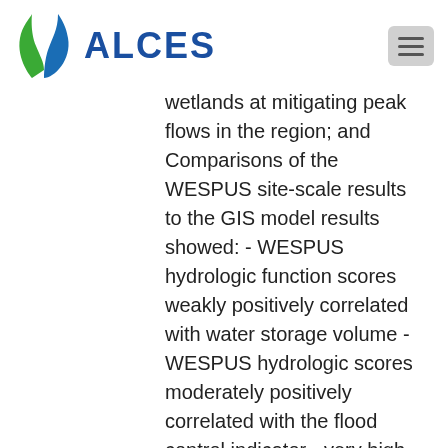ALCES
wetlands at mitigating peak flows in the region; and Comparisons of the WESPUS site-scale results to the GIS model results showed: - WESPUS hydrologic function scores weakly positively correlated with water storage volume - WESPUS hydrologic scores moderately positively correlated with the flood control indicator - very high variability and in particular several outliers highlighted model mismatches - caution is required when interpreting indicator values from WESPUS or GIS models.